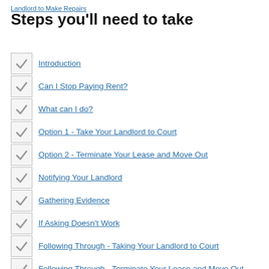Landlord to Make Repairs
Steps you'll need to take
Introduction
Can I Stop Paying Rent?
What can I do?
Option 1 - Take Your Landlord to Court
Option 2 - Terminate Your Lease and Move Out
Notifying Your Landlord
Gathering Evidence
If Asking Doesn't Work
Following Through - Taking Your Landlord to Court
Following Through - Terminate Your Lease and Move Out
Appeal
Forms And Advanced Materials